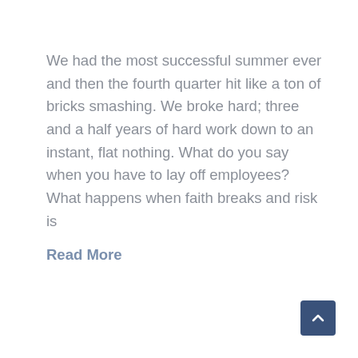We had the most successful summer ever and then the fourth quarter hit like a ton of bricks smashing. We broke hard; three and a half years of hard work down to an instant, flat nothing. What do you say when you have to lay off employees? What happens when faith breaks and risk is
Read More